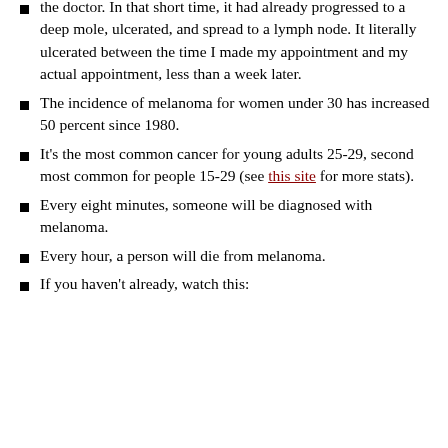the doctor. In that short time, it had already progressed to a deep mole, ulcerated, and spread to a lymph node. It literally ulcerated between the time I made my appointment and my actual appointment, less than a week later.
The incidence of melanoma for women under 30 has increased 50 percent since 1980.
It's the most common cancer for young adults 25-29, second most common for people 15-29 (see this site for more stats).
Every eight minutes, someone will be diagnosed with melanoma.
Every hour, a person will die from melanoma.
If you haven't already, watch this: